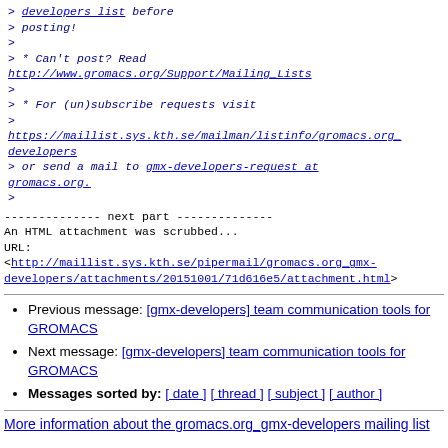> developers list before
> posting!
>
> * Can't post? Read
http://www.gromacs.org/Support/Mailing_Lists
>
> * For (un)subscribe requests visit
>
https://maillist.sys.kth.se/mailman/listinfo/gromacs.org_developers
> or send a mail to gmx-developers-request at gromacs.org.
>
-------------- next part --------------
An HTML attachment was scrubbed...
URL:
<http://maillist.sys.kth.se/pipermail/gromacs.org_gmx-developers/attachments/20151001/71d616e5/attachment.html>
Previous message: [gmx-developers] team communication tools for GROMACS
Next message: [gmx-developers] team communication tools for GROMACS
Messages sorted by: [ date ] [ thread ] [ subject ] [ author ]
More information about the gromacs.org_gmx-developers mailing list